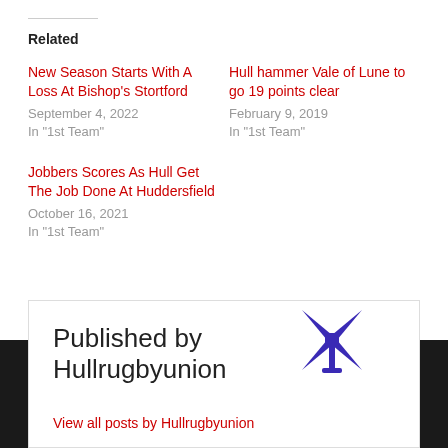Related
New Season Starts With A Loss At Bishop's Stortford
September 4, 2022
In "1st Team"
Hull hammer Vale of Lune to go 19 points clear
February 9, 2019
In "1st Team"
Jobbers Scores As Hull Get The Job Done At Huddersfield
October 16, 2021
In "1st Team"
Published by Hullrugbyunion
View all posts by Hullrugbyunion